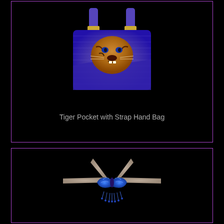[Figure (photo): A beaded handbag with a blue/purple denim-style body, handle straps with gold buckles, and a tiger face peeking out from a front pocket]
Tiger Pocket with Strap Hand Bag
[Figure (photo): A beaded belt or collar featuring a blue butterfly design in the center with tan/beige beadwork extending outward like wings or straps]